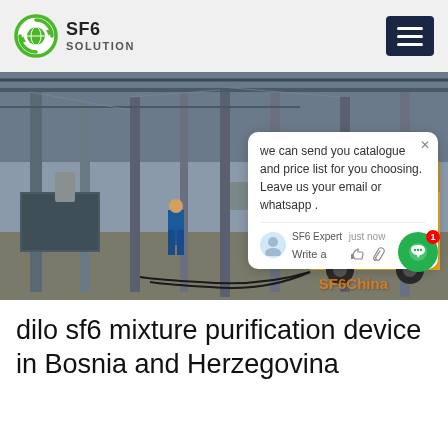SF6 SOLUTION
[Figure (photo): Workers in blue protective suits at a high-voltage electrical substation with a yellow SF6 gas service truck. A chat popup overlay reads: 'we can send you catalogue and price list for you choosing. Leave us your email or whatsapp.' SF6 Expert, just now. SF6China watermark visible.]
dilo sf6 mixture purification device in Bosnia and Herzegovina